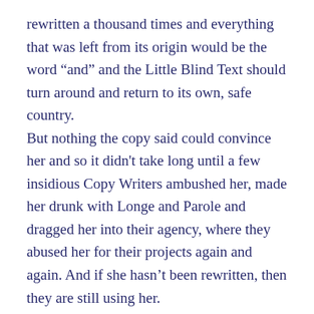rewritten a thousand times and everything that was left from its origin would be the word “and” and the Little Blind Text should turn around and return to its own, safe country. But nothing the copy said could convince her and so it didn't take long until a few insidious Copy Writers ambushed her, made her drunk with Longe and Parole and dragged her into their agency, where they abused her for their projects again and again. And if she hasn’t been rewritten, then they are still using her. Far far away, behind the word mountains, far from the countries Vokalia and Consonantia, there live the blind texts. Separated they live in Bookmarksgrove right at the coast of the